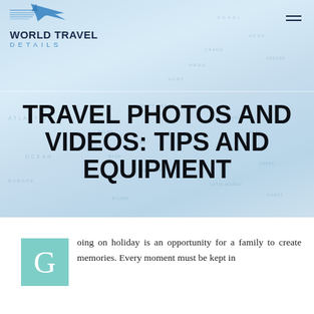[Figure (photo): World map background with light blue tones, with a blue airplane graphic and World Travel Details logo in the header navigation area]
TRAVEL PHOTOS AND VIDEOS: TIPS AND EQUIPMENT
oing on holiday is an opportunity for a family to create memories. Every moment must be kept in